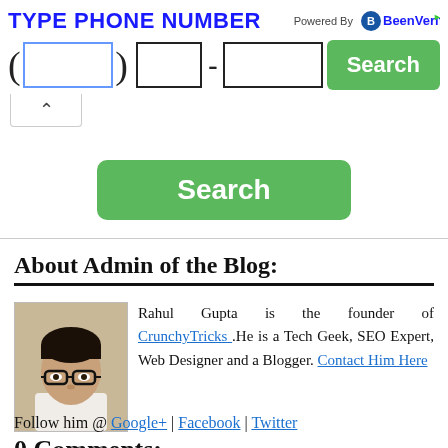[Figure (screenshot): Phone number search widget with 'TYPE PHONE NUMBER' heading, BeenVerified logo, three input boxes for area code, prefix, and suffix, a Search button, and a dropdown arrow.]
[Figure (screenshot): Large green Search button below the phone input widget.]
About Admin of the Blog:
[Figure (photo): Photo of Rahul Gupta, a young man with glasses.]
Rahul Gupta is the founder of CrunchyTricks .He is a Tech Geek, SEO Expert, Web Designer and a Blogger. Contact Him Here
Follow him @ Google+ | Facebook | Twitter
0 Comments: